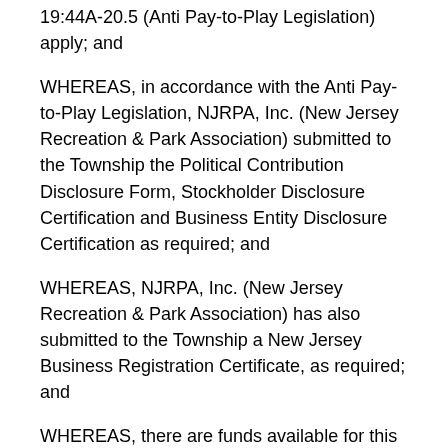19:44A-20.5 (Anti Pay-to-Play Legislation) apply; and
WHEREAS, in accordance with the Anti Pay-to-Play Legislation, NJRPA, Inc. (New Jersey Recreation & Park Association) submitted to the Township the Political Contribution Disclosure Form, Stockholder Disclosure Certification and Business Entity Disclosure Certification as required; and
WHEREAS, NJRPA, Inc. (New Jersey Recreation & Park Association) has also submitted to the Township a New Jersey Business Registration Certificate, as required; and
WHEREAS, there are funds available for this service.
NOW, THEREFORE BE IT RESOLVED by the Township Council of the Township of Randolph, County of Morris, State of New Jersey, as follows:
1. The Township hereby awards a contract to NJRPA, Inc.